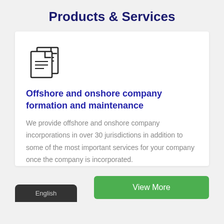Products & Services
[Figure (illustration): Two overlapping document/file icons with lines representing text, drawn in outline style]
Offshore and onshore company formation and maintenance
We provide offshore and onshore company incorporations in over 30 jurisdictions in addition to some of the most important services for your company once the company is incorporated.
View More
English